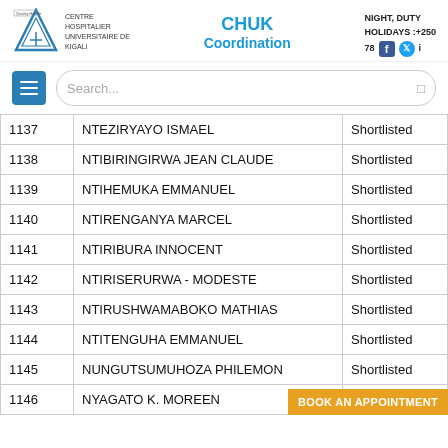CHUK Coordination | NIGHT, DUTY HOLIDAYS :+250 78
| # | Name | Status |
| --- | --- | --- |
| 1137 | NTEZIRYAYO ISMAEL | Shortlisted |
| 1138 | NTIBIRINGIRWA JEAN CLAUDE | Shortlisted |
| 1139 | NTIHEMUKA EMMANUEL | Shortlisted |
| 1140 | NTIRENGANYA MARCEL | Shortlisted |
| 1141 | NTIRIBURA INNOCENT | Shortlisted |
| 1142 | NTIRISERURWA - MODESTE | Shortlisted |
| 1143 | NTIRUSHWAMABOKO MATHIAS | Shortlisted |
| 1144 | NTITENGUHA EMMANUEL | Shortlisted |
| 1145 | NUNGUTSUMUHOZA PHILEMON | Shortlisted |
| 1146 | NYAGATO K. MOREEN | Shortlisted |